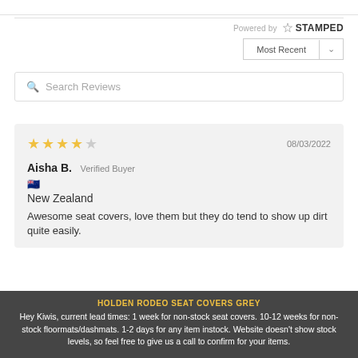[Figure (screenshot): Top partial element — white bar with bottom border]
Powered by ✦ STAMPED
Most Recent ∨
🔍 Search Reviews
★★★★☆  08/03/2022
Aisha B.  Verified Buyer
🇳🇿
New Zealand
Awesome seat covers, love them but they do tend to show up dirt quite easily.
HOLDEN RODEO SEAT COVERS GREY
Hey Kiwis, current lead times: 1 week for non-stock seat covers. 10-12 weeks for non-stock floormats/dashmats. 1-2 days for any item instock. Website doesn't show stock levels, so feel free to give us a call to confirm for your items.